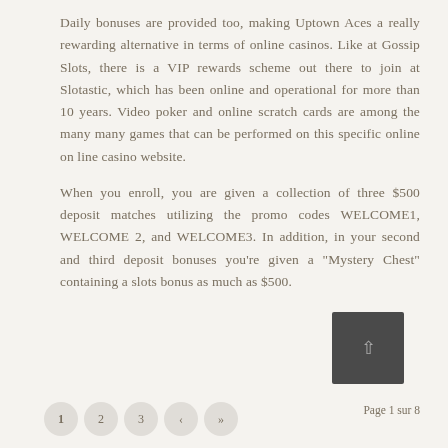Daily bonuses are provided too, making Uptown Aces a really rewarding alternative in terms of online casinos. Like at Gossip Slots, there is a VIP rewards scheme out there to join at Slotastic, which has been online and operational for more than 10 years. Video poker and online scratch cards are among the many many games that can be performed on this specific online on line casino website.
When you enroll, you are given a collection of three $500 deposit matches utilizing the promo codes WELCOME1, WELCOME 2, and WELCOME3. In addition, in your second and third deposit bonuses you're given a “Mystery Chest” containing a slots bonus as much as $500.
[Figure (other): A dark gray square button with an upward-pointing arrow (scroll to top button)]
1  2  3  ‹  »  Page 1 sur 8